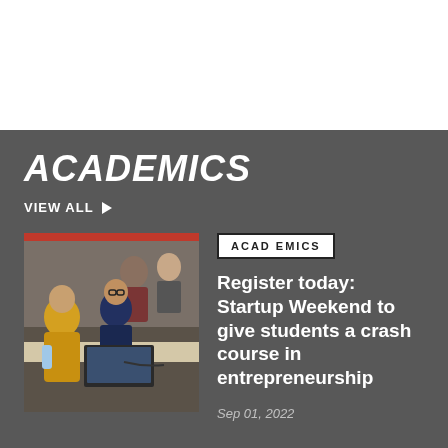ACADEMICS
VIEW ALL
[Figure (photo): Students sitting at a table working together on a laptop in a classroom or event setting. One student wearing a yellow hoodie, another in a dark shirt with glasses, others visible in background.]
ACADEMICS
Register today: Startup Weekend to give students a crash course in entrepreneurship
Sep 01, 2022